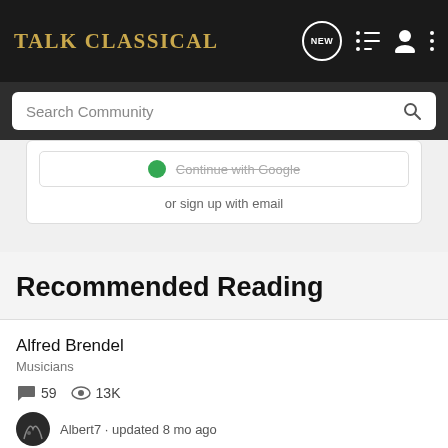Talk Classical
Search Community
Continue with Google
or sign up with email
Recommended Reading
Alfred Brendel
Musicians
59 comments · 13K views
Albert7 · updated 8 mo ago
Glenn Gould